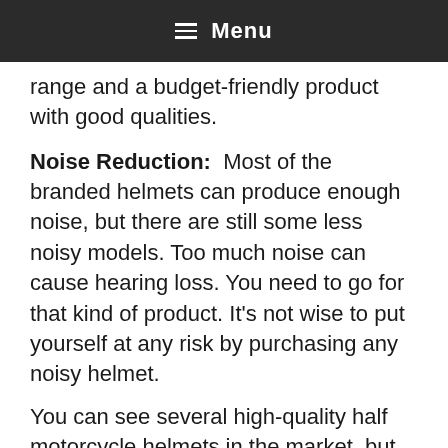≡ Menu
range and a budget-friendly product with good qualities.
Noise Reduction:  Most of the branded helmets can produce enough noise, but there are still some less noisy models. Too much noise can cause hearing loss. You need to go for that kind of product. It's not wise to put yourself at any risk by purchasing any noisy helmet.
You can see several high-quality half motorcycle helmets in the market, but getting the best outcome requires an in-depth look at the features and find out the